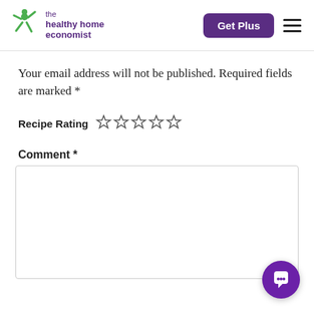the healthy home economist | Get Plus
Your email address will not be published. Required fields are marked *
Recipe Rating (5 empty stars)
Comment *
[Figure (other): Empty comment text area input box]